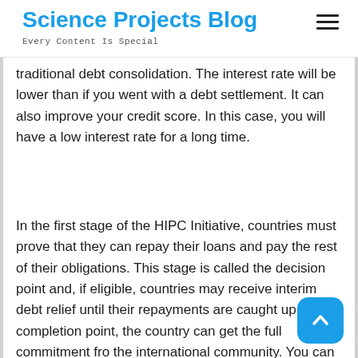Science Projects Blog
Every Content Is Special
traditional debt consolidation. The interest rate will be lower than if you went with a debt settlement. It can also improve your credit score. In this case, you will have a low interest rate for a long time.
In the first stage of the HIPC Initiative, countries must prove that they can repay their loans and pay the rest of their obligations. This stage is called the decision point and, if eligible, countries may receive interim debt relief until their repayments are caught up. At the completion point, the country can get the full commitment from the international community. You can learn more about debt relief through the HIPC